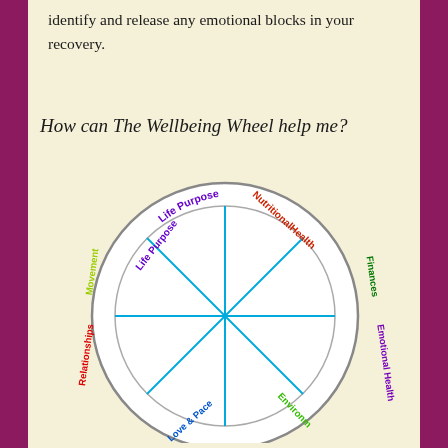identify and release any emotional blocks in your recovery.
How can The Wellbeing Wheel help me?
[Figure (infographic): The Wellbeing Wheel: a circular diagram divided into 8 segments by lines meeting at the center. Segment labels around the rim (in various colors): Life Purpose (purple), Nutritional Health (red/orange), Finances (green), Emotional Health (purple), Environment (green), Love & Peace (blue), Relationships (red), Movement (yellow-green). The wheel has a double circle border in gray, with blue dividing lines inside.]